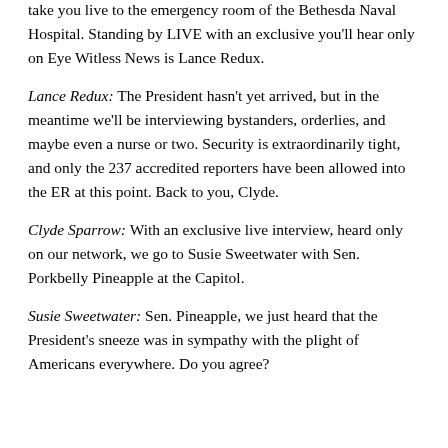take you live to the emergency room of the Bethesda Naval Hospital. Standing by LIVE with an exclusive you'll hear only on Eye Witless News is Lance Redux.
Lance Redux: The President hasn't yet arrived, but in the meantime we'll be interviewing bystanders, orderlies, and maybe even a nurse or two. Security is extraordinarily tight, and only the 237 accredited reporters have been allowed into the ER at this point. Back to you, Clyde.
Clyde Sparrow: With an exclusive live interview, heard only on our network, we go to Susie Sweetwater with Sen. Porkbelly Pineapple at the Capitol.
Susie Sweetwater: Sen. Pineapple, we just heard that the President's sneeze was in sympathy with the plight of Americans everywhere. Do you agree?